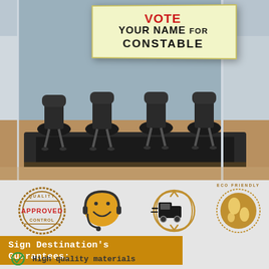[Figure (photo): Conference room with glass wall and office chairs, with a political campaign sign overlay reading 'YOUR NAME FOR CONSTABLE']
[Figure (infographic): Four icons: Quality Control Approved stamp, customer service smiley face with headset, fast delivery van, eco friendly globe]
Sign Destination's Guarantees:
High quality materials